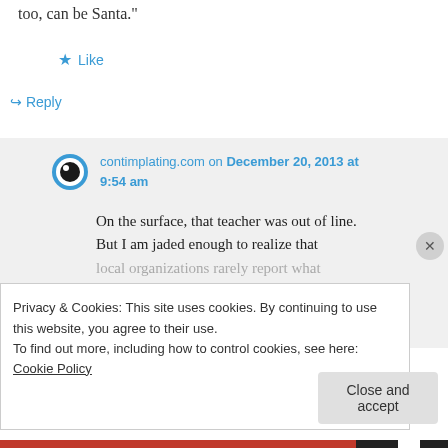too, can be Santa."
★ Like
↪ Reply
contimplating.com on December 20, 2013 at 9:54 am
On the surface, that teacher was out of line. But I am jaded enough to realize that local organizations rarely report what
Privacy & Cookies: This site uses cookies. By continuing to use this website, you agree to their use.
To find out more, including how to control cookies, see here: Cookie Policy
Close and accept